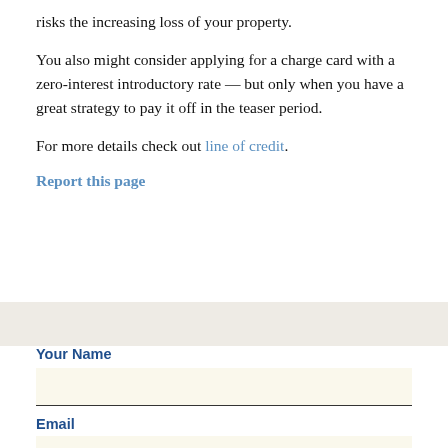risks the increasing loss of your property.
You also might consider applying for a charge card with a zero-interest introductory rate — but only when you have a great strategy to pay it off in the teaser period.
For more details check out line of credit.
Report this page
Your Name
Email